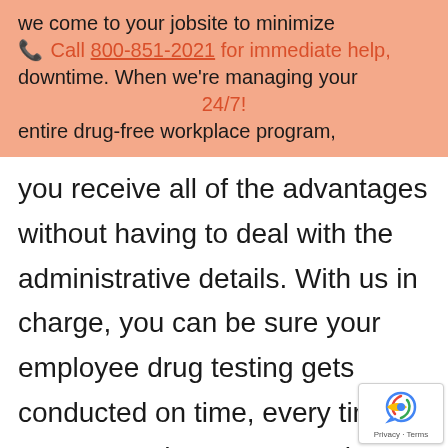we come to your jobsite to minimize downtime. When we're managing your entire drug-free workplace program, [Call 800-851-2021 for immediate help, 24/7!]
you receive all of the advantages without having to deal with the administrative details. With us in charge, you can be sure your employee drug testing gets conducted on time, every time, no matter where your employees are located or when you need them tested.